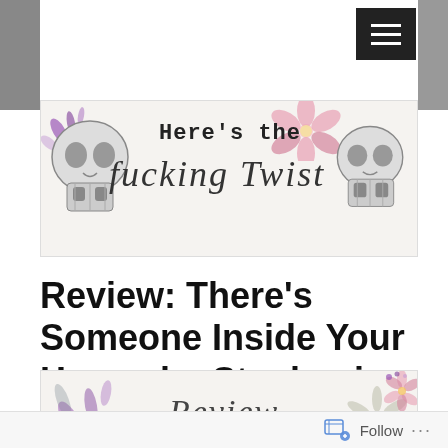[Figure (logo): Blog header banner with two skull illustrations on left and right, purple floral decorations top left, pink flower top center-right, bold serif text 'Here's the' and script text 'fucking Twist' on textured light background]
Review: There's Someone Inside Your House by Stephanie Perkins
[Figure (illustration): Decorative review banner with purple/grey leaf watercolor on left, pink and grey daisy flowers on right, script text 'Review' in center on light textured background]
Follow ...